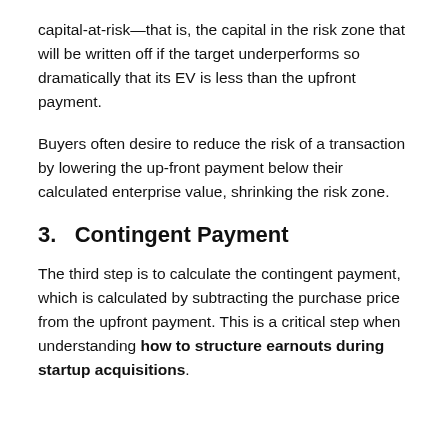capital-at-risk—that is, the capital in the risk zone that will be written off if the target underperforms so dramatically that its EV is less than the upfront payment.
Buyers often desire to reduce the risk of a transaction by lowering the up-front payment below their calculated enterprise value, shrinking the risk zone.
3.   Contingent Payment
The third step is to calculate the contingent payment, which is calculated by subtracting the purchase price from the upfront payment. This is a critical step when understanding how to structure earnouts during startup acquisitions.